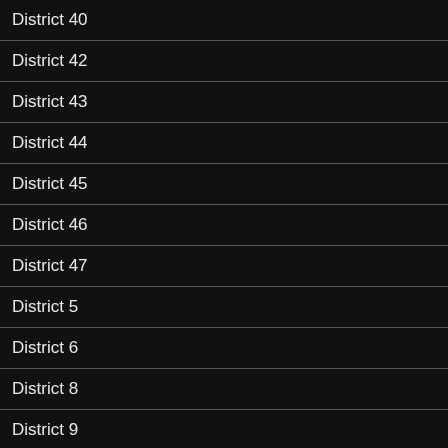District 40
District 42
District 43
District 44
District 45
District 46
District 47
District 5
District 6
District 8
District 9
Do the Right Thing
Domestic Violence